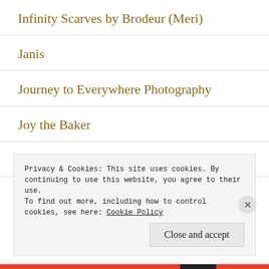Infinity Scarves by Brodeur (Meri)
Janis
Journey to Everywhere Photography
Joy the Baker
Lady Lucy
Liz’s Lovely Life
Privacy & Cookies: This site uses cookies. By continuing to use this website, you agree to their use.
To find out more, including how to control cookies, see here: Cookie Policy
Close and accept